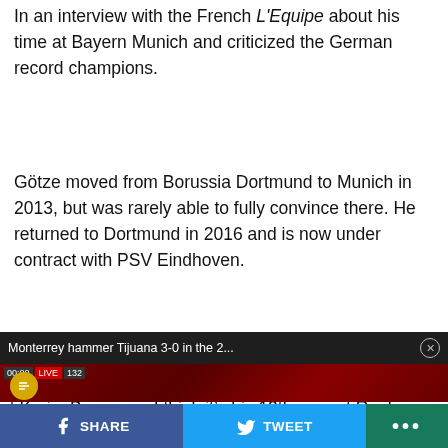In an interview with the French L'Equipe about his time at Bayern Munich and criticized the German record champions.
Götze moved from Borussia Dortmund to Munich in 2013, but was rarely able to fully convince there. He returned to Dortmund in 2016 and is now under contract with PSV Eindhoven.
[Figure (screenshot): Video popup overlay showing a soccer match with the title 'Monterrey hammer Tijuana 3-0 in the 2...' and a close button. Players in white jerseys are visible on a red-background stadium pitch. A teal circle highlights one player. A yellow mute button is visible bottom-left of the video.]
tically on the time at from the criticism. “I . We see it a little with in Munich since 2014 etter than the first,” t time, neither did the nt factor. When I look at Karim Benzema, I think it’s his 13th year at Real
SHARE   TWEET   ...